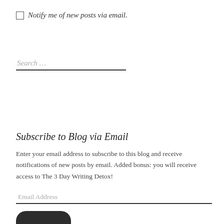Notify me of new posts via email.
Search …
Subscribe to Blog via Email
Enter your email address to subscribe to this blog and receive notifications of new posts by email. Added bonus: you will receive access to The 3 Day Writing Detox!
Email Address